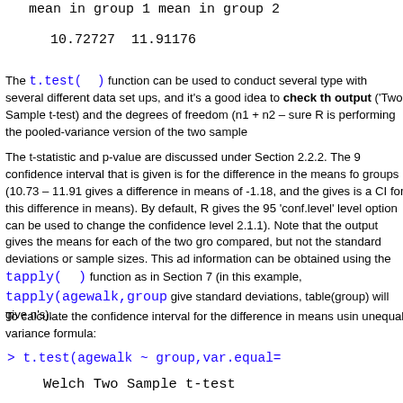mean in group 1 mean in group 2
10.72727 11.91176
The t.test( ) function can be used to conduct several type with several different data set ups, and it's a good idea to check the output ('Two Sample t-test) and the degrees of freedom (n1 + n2 – sure R is performing the pooled-variance version of the two sample
The t-statistic and p-value are discussed under Section 2.2.2. The 9 confidence interval that is given is for the difference in the means fo groups (10.73 – 11.91 gives a difference in means of -1.18, and the gives is a CI for this difference in means). By default, R gives the 95 'conf.level' level option can be used to change the confidence level 2.1.1). Note that the output gives the means for each of the two gro compared, but not the standard deviations or sample sizes. This ad information can be obtained using the tapply( ) function as in Section 7 (in this example, tapply(agewalk,group give standard deviations, table(group) will give n's).
To calculate the confidence interval for the difference in means usin unequal variance formula:
> t.test(agewalk ~ group,var.equal=
Welch Two Sample t-test